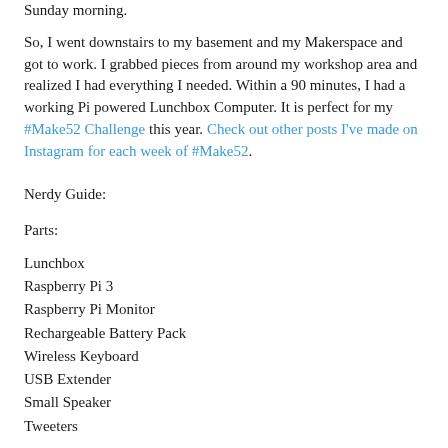Sunday morning.
So, I went downstairs to my basement and my Makerspace and got to work. I grabbed pieces from around my workshop area and realized I had everything I needed. Within a 90 minutes, I had a working Pi powered Lunchbox Computer. It is perfect for my #Make52 Challenge this year. Check out other posts I've made on Instagram for each week of #Make52.
Nerdy Guide:
Parts:
Lunchbox
Raspberry Pi 3
Raspberry Pi Monitor
Rechargeable Battery Pack
Wireless Keyboard
USB Extender
Small Speaker
Tweeters